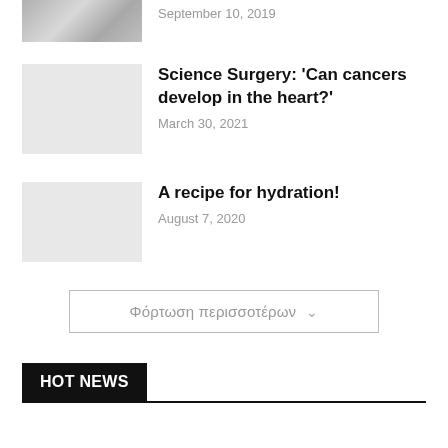[Figure (photo): Partial thumbnail image of a person, black and white, top of page]
September 10, 2019
Science Surgery: ‘Can cancers develop in the heart?’
March 30, 2021
A recipe for hydration!
August 7, 2020
Φόρτωση περισσοτέρων
HOT NEWS